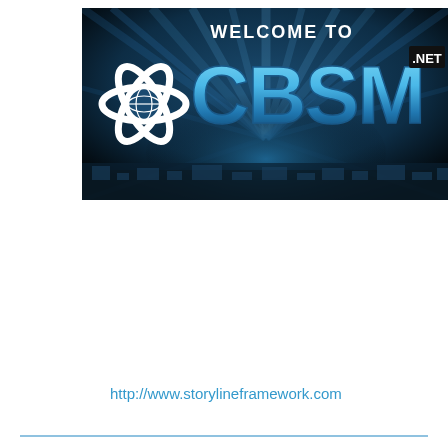[Figure (logo): Welcome to CBSM.net logo banner — dark blue/black background with radiating light beams, large white atom/star icon on left, large 'CBSM' text in blue metallic gradient, '.NET' superscript, 'WELCOME TO' text above in white]
http://www.storylineframework.com